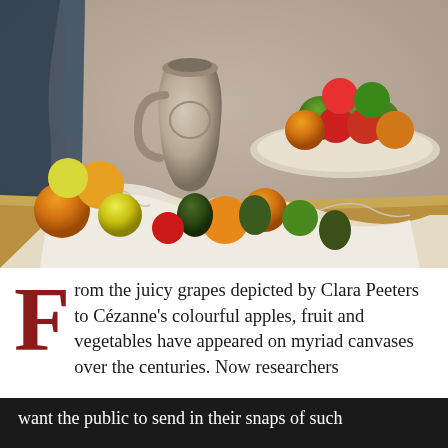[Figure (illustration): A still life painting in the style of Cézanne depicting a clay jug, white draped cloth, and various fruits (apples, oranges, pears, lemons) arranged on a table. A plate of green and red apples is visible in the upper right. The background is a muted grey-brown wall. The painting style features visible brushstrokes in Post-Impressionist manner.]
From the juicy grapes depicted by Clara Peeters to Cézanne's colourful apples, fruit and vegetables have appeared on myriad canvases over the centuries. Now researchers want the public to send in their snaps of such